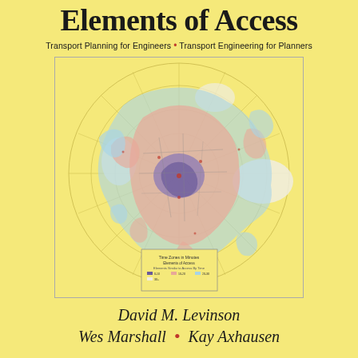Elements of Access
Transport Planning for Engineers • Transport Engineering for Planners
[Figure (map): Historical isochrone map of a city showing travel time contours radiating from a central point, with concentric zones colored in purple, pink/salmon, light blue, and white/cream representing different travel time bands. The map includes a grid overlay of radial and circumferential lines, street networks, and a legend box in the lower center.]
David M. Levinson
Wes Marshall • Kay Axhausen